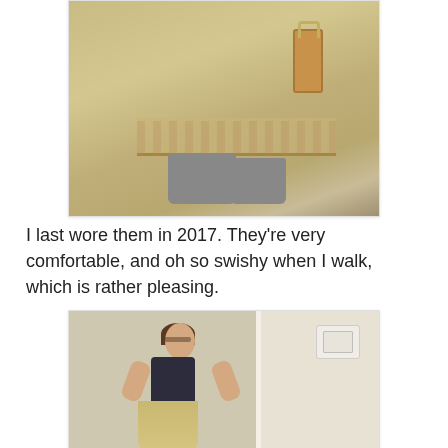[Figure (photo): Close-up photo from the waist down showing a person wearing a long floral maxi skirt with embroidered hem border, gray ankle boots, and carrying a tan/caramel colored handbag. Taken outdoors on a sidewalk.]
I last wore them in 2017. They're very comfortable, and oh so swishy when I walk, which is rather pleasing.
[Figure (photo): Indoor photo of a woman with dark hair and glasses wearing a black sleeveless top and a tan/gold midi skirt with embroidered detail at the waist, standing in front of a door with a thermostat visible. Her arms are spread wide.]